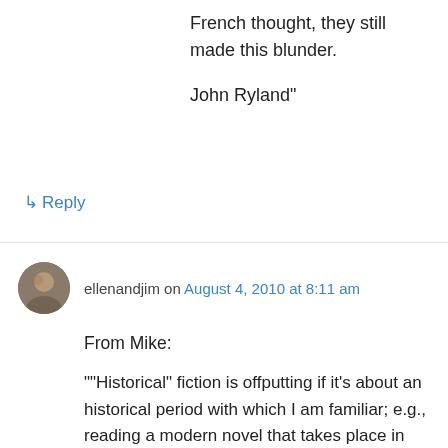French thought, they still made this blunder.
John Ryland”
↳ Reply
ellenandjim on August 4, 2010 at 8:11 am
From Mike:
““Historical” fiction is offputting if it’s about an historical period with which I am familiar; e.g., reading a modern novel that takes place in Victorian England is a thumb in the eye. The author’s attitude seems to get in the way. But …I recently read some of Kenneth Roberts’ books about the Revolutionary War era in upper New England (Arundel, Rabble in Arms) and enjoyed